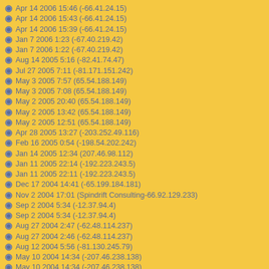Apr 14 2006 15:46  (-66.41.24.15)
Apr 14 2006 15:43  (-66.41.24.15)
Apr 14 2006 15:39  (-66.41.24.15)
Jan 7 2006 1:23  (-67.40.219.42)
Jan 7 2006 1:22  (-67.40.219.42)
Aug 14 2005 5:16  (-82.41.74.47)
Jul 27 2005 7:11  (-81.171.151.242)
May 3 2005 7:57  (65.54.188.149)
May 3 2005 7:08  (65.54.188.149)
May 2 2005 20:40  (65.54.188.149)
May 2 2005 13:42  (65.54.188.149)
May 2 2005 12:51  (65.54.188.149)
Apr 28 2005 13:27  (-203.252.49.116)
Feb 16 2005 0:54  (-198.54.202.242)
Jan 14 2005 12:34  (207.46.98.112)
Jan 11 2005 22:14  (-192.223.243.5)
Jan 11 2005 22:11  (-192.223.243.5)
Dec 17 2004 14:41  (-65.199.184.181)
Nov 2 2004 17:01  (Spindrift Consulting-66.92.129.233)
Sep 2 2004 5:34  (-12.37.94.4)
Sep 2 2004 5:34  (-12.37.94.4)
Aug 27 2004 2:47  (-62.48.114.237)
Aug 27 2004 2:46  (-62.48.114.237)
Aug 12 2004 5:56  (-81.130.245.79)
May 10 2004 14:34  (-207.46.238.138)
May 10 2004 14:34  (-207.46.238.138)
May 7 2004 18:22  (-207.46.238.138)
May 7 2004 18:16  (-207.46.238.138)
Apr 20 2004 9:05  (Pascal-207.35.107.66)
Apr 20 2004 4:51  (-24.16.44.129)